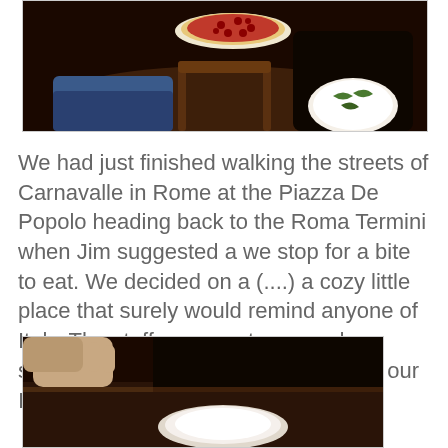[Figure (photo): Dark restaurant interior photo showing people seated at a wooden table with pizza on plates, one pizza visible with red tomato sauce and toppings on a white plate, another decorative plate visible, dimly lit ambiance]
We had just finished walking the streets of Carnavalle in Rome at the Piazza De Popolo heading back to the Roma Termini when Jim suggested a we stop for a bite to eat. We decided on a (....) a cozy little place that surely would remind anyone of Italy. The staff was courteous and our server spoke English as we practiced our Italian.
[Figure (photo): Dark restaurant interior photo showing a white plate on a dark wooden table, dimly lit with warm tones, hands partially visible]